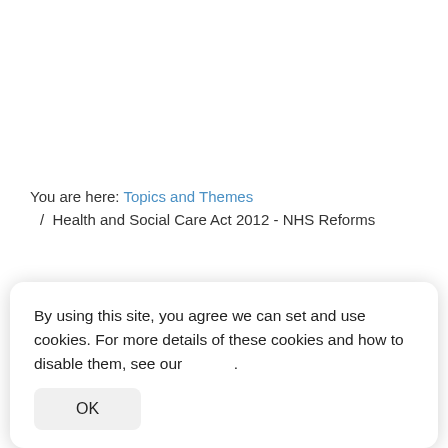You are here: Topics and Themes / Health and Social Care Act 2012 - NHS Reforms
The Health and Social Care Act 2012 brought in the
By using this site, you agree we can set and use cookies. For more details of these cookies and how to disable them, see our .
OK